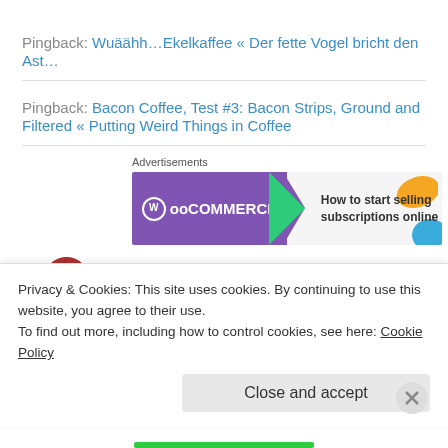Pingback: Wuäähh…Ekelkaffee « Der fette Vogel bricht den Ast…
Pingback: Bacon Coffee, Test #3: Bacon Strips, Ground and Filtered « Putting Weird Things in Coffee
Advertisements
[Figure (screenshot): WooCommerce advertisement banner: purple background with WooCommerce logo, green arrow, text 'How to start selling subscriptions online', orange and blue decorative shapes]
Can't Get Pregnant on August 5, 2010 at 4:46 am
Privacy & Cookies: This site uses cookies. By continuing to use this website, you agree to their use.
To find out more, including how to control cookies, see here: Cookie Policy
Close and accept